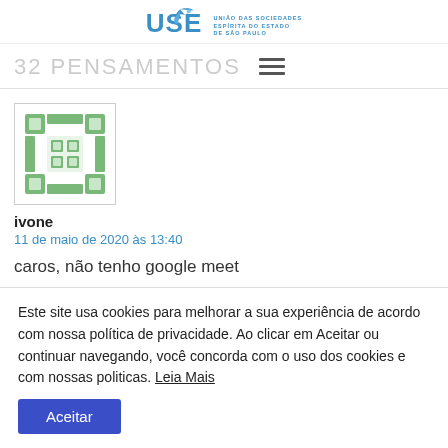[Figure (logo): USE logo with bird icon and text UNIAO DAS SOCIEDADES ESPIRITA DO ESTADO DE SAO PAULO]
32 PENSAMENTOS
[Figure (illustration): Green mosaic/geometric avatar icon with grid pattern]
ivone
11 de maio de 2020 às 13:40
caros, não tenho google meet
Este site usa cookies para melhorar a sua experiência de acordo com nossa política de privacidade. Ao clicar em Aceitar ou continuar navegando, você concorda com o uso dos cookies e com nossas politicas. Leia Mais
Aceitar